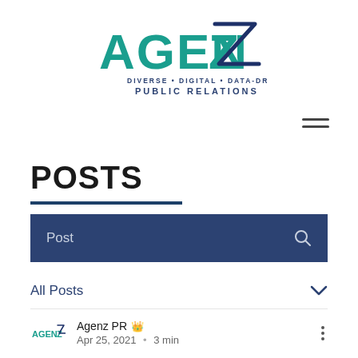[Figure (logo): AgenZ PR logo — teal AGENZ lettering with navy Z stroke, tagline DIVERSE • DIGITAL • DATA-DRIVEN PUBLIC RELATIONS]
POSTS
Post (search bar with magnifying glass icon)
All Posts
Agenz PR 👑
Apr 25, 2021  •  3 min